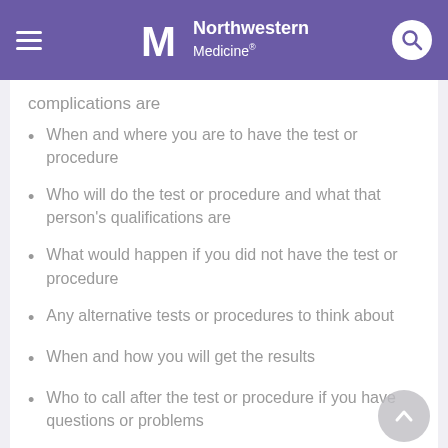Northwestern Medicine
complications are
When and where you are to have the test or procedure
Who will do the test or procedure and what that person's qualifications are
What would happen if you did not have the test or procedure
Any alternative tests or procedures to think about
When and how you will get the results
Who to call after the test or procedure if you have questions or problems